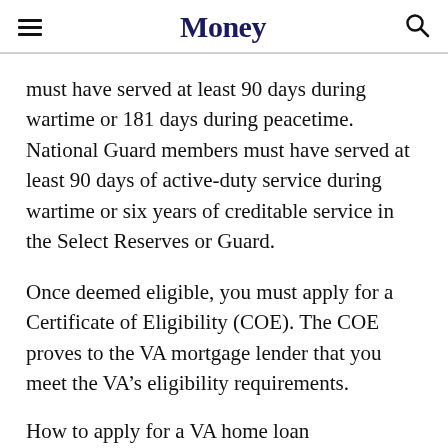Money
must have served at least 90 days during wartime or 181 days during peacetime. National Guard members must have served at least 90 days of active-duty service during wartime or six years of creditable service in the Select Reserves or Guard.
Once deemed eligible, you must apply for a Certificate of Eligibility (COE). The COE proves to the VA mortgage lender that you meet the VA’s eligibility requirements.
How to apply for a VA home loan